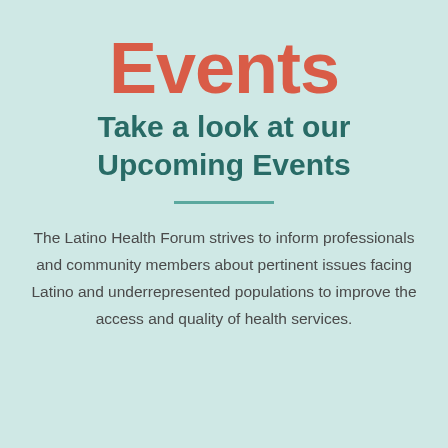Events
Take a look at our Upcoming Events
The Latino Health Forum strives to inform professionals and community members about pertinent issues facing Latino and underrepresented populations to improve the access and quality of health services.